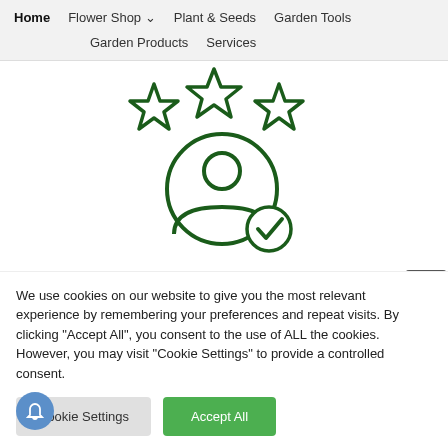Home | Flower Shop | Plant & Seeds | Garden Tools | Garden Products | Services
[Figure (illustration): Dark green icon of a person with three stars above and a checkmark badge, representing customer satisfaction or verified user rating]
We use cookies on our website to give you the most relevant experience by remembering your preferences and repeat visits. By clicking "Accept All", you consent to the use of ALL the cookies. However, you may visit "Cookie Settings" to provide a controlled consent.
Cookie Settings
Accept All